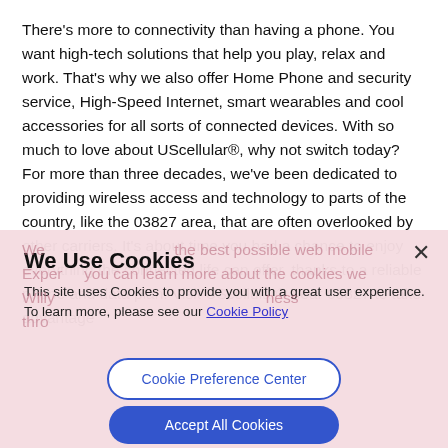There's more to connectivity than having a phone. You want high-tech solutions that help you play, relax and work. That's why we also offer Home Phone and security service, High-Speed Internet, smart wearables and cool accessories for all sorts of connected devices. With so much to love about UScellular®, why not switch today? For more than three decades, we've been dedicated to providing wireless access and technology to parts of the country, like the 03827 area, that are often overlooked by other carriers. It's about time you had a chance to enjoy everything the connected life can offer, thanks to a reliable phone and data plan. Visit UScellular® near 03827 to take advantage
We Use Cookies
This site uses Cookies to provide you with a great user experience. To learn more, please see our Cookie Policy
Cookie Preference Center
Accept All Cookies